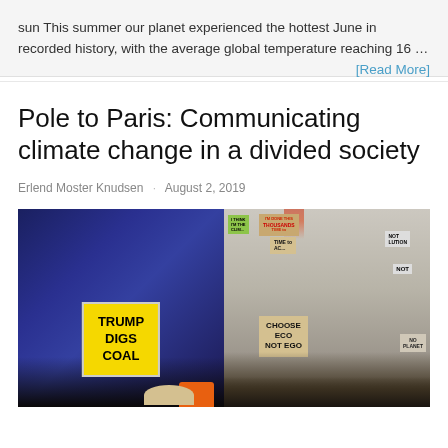sun This summer our planet experienced the hottest June in recorded history, with the average global temperature reaching 16 … [Read More]
Pole to Paris: Communicating climate change in a divided society
Erlend Moster Knudsen · August 2, 2019
[Figure (photo): Two side-by-side photos: left shows a person holding a yellow sign reading 'TRUMP DIGS COAL' at a political rally with dark blue curtain background; right shows a climate protest crowd holding various signs including 'CHOOSE ECO NOT EGO', 'TIME TO...', and other protest placards.]